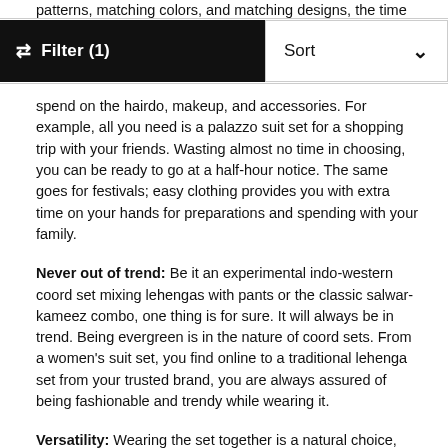patterns, matching colors, and matching designs, the time and
[Figure (screenshot): UI filter and sort bar: black Filter (1) button on left, Sort dropdown on right]
spend on the hairdo, makeup, and accessories. For example, all you need is a palazzo suit set for a shopping trip with your friends. Wasting almost no time in choosing, you can be ready to go at a half-hour notice. The same goes for festivals; easy clothing provides you with extra time on your hands for preparations and spending with your family.
Never out of trend: Be it an experimental indo-western coord set mixing lehengas with pants or the classic salwar-kameez combo, one thing is for sure. It will always be in trend. Being evergreen is in the nature of coord sets. From a women's suit set, you find online to a traditional lehenga set from your trusted brand, you are always assured of being fashionable and trendy while wearing it.
Versatility: Wearing the set together is a natural choice, but doesn't stop you from using the top and bottom separately. There's something amazing about recreating new styles from our wardrobe and ramping up our fashion game.